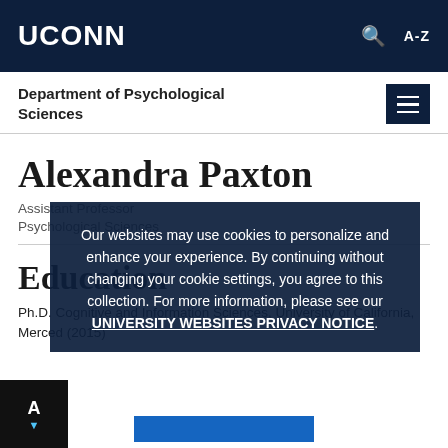UCONN
Department of Psychological Sciences
Alexandra Paxton
Assistant Professor
Psychological Sciences
Education
Ph.D. Cognitive and Information Sciences, University of California, Merced (2015)
Our websites may use cookies to personalize and enhance your experience. By continuing without changing your cookie settings, you agree to this collection. For more information, please see our UNIVERSITY WEBSITES PRIVACY NOTICE.